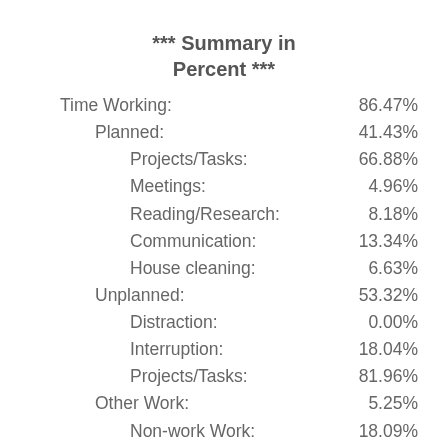*** Summary in Percent ***
| Category | Percent |
| --- | --- |
| Time Working: | 86.47% |
|   Planned: | 41.43% |
|     Projects/Tasks: | 66.88% |
|     Meetings: | 4.96% |
|     Reading/Research: | 8.18% |
|     Communication: | 13.34% |
|     House cleaning: | 6.63% |
|   Unplanned: | 53.32% |
|     Distraction: | 0.00% |
|     Interruption: | 18.04% |
|     Projects/Tasks: | 81.96% |
|   Other Work: | 5.25% |
|     Non-work Work: | 18.09% |
|     Community Life: | 81.91% |
| Unspecified: | 0.00% |